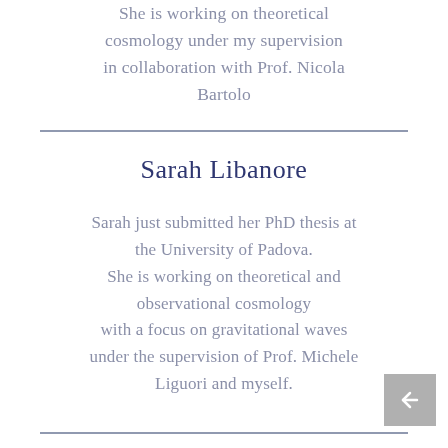She is working on theoretical cosmology under my supervision in collaboration with Prof. Nicola Bartolo
Sarah Libanore
Sarah just submitted her PhD thesis at the University of Padova. She is working on theoretical and observational cosmology with a focus on gravitational waves under the supervision of Prof. Michele Liguori and myself.